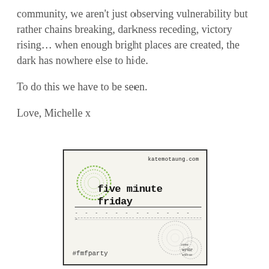community, we aren't just observing vulnerability but rather chains breaking, darkness receding, victory rising... when enough bright places are created, the dark has nowhere else to hide.
To do this we have to be seen.
Love, Michelle x
[Figure (illustration): Five Minute Friday logo badge: a square box with dotted/pencil-sketch styling, showing 'katemotaung.com' at top right, a green hand-drawn spiral circle on the left, 'five minute friday' in bold typewriter font, dashed lines, '#fmfparty' at bottom left, and 'come write with us' in cursive at bottom right with decorative gray spiral circles.]